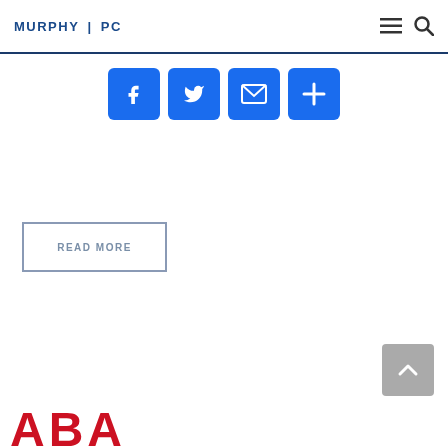MURPHY | PC
[Figure (infographic): Social sharing buttons: Facebook (f), Twitter (bird), Email (envelope), Add (+) — all square blue icons]
READ MORE
[Figure (logo): Partial red logo text at the bottom of the page, cut off]